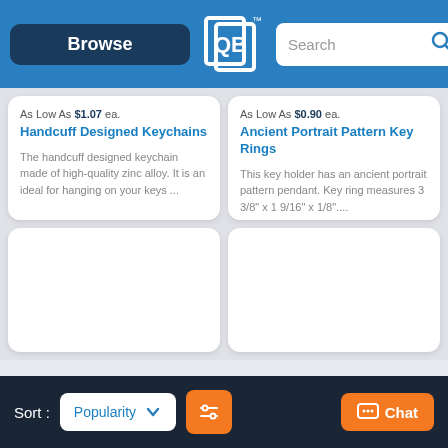Browse | [Logo] | Search
As Low As $1.07 ea.
Handcuff Designed Keychains
The handcuff designed keychain made of high-quality zinc alloy. It is an ideal for hanging on your keys ...
As Low As $0.90 ea.
Ancient Portrait Pattern Key Rings
This key holder has an ancient portrait pattern pendant. Key ring measures 3 3/8" x 1 9/16" x 1/8"....
Sort : Popularity [filter] [Chat]